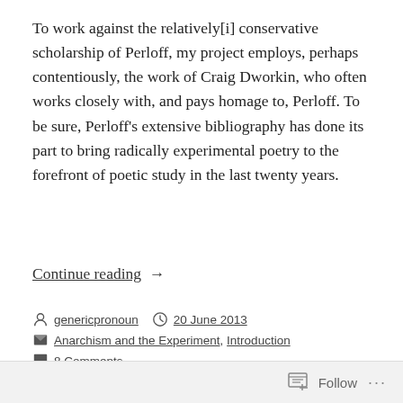To work against the relatively[i] conservative scholarship of Perloff, my project employs, perhaps contentiously, the work of Craig Dworkin, who often works closely with, and pays homage to, Perloff. To be sure, Perloff's extensive bibliography has done its part to bring radically experimental poetry to the forefront of poetic study in the last twenty years.
Continue reading  →
genericpronoun
20 June 2013
Anarchism and the Experiment, Introduction
8 Comments
Follow ···